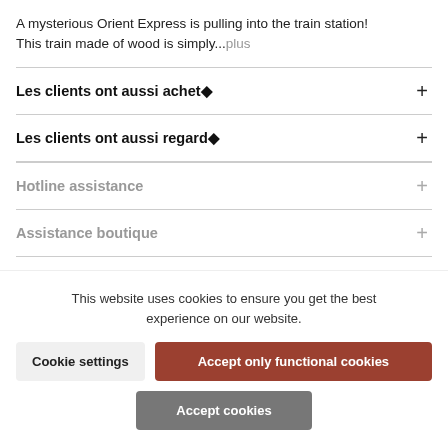A mysterious Orient Express is pulling into the train station! This train made of wood is simply...plus
Les clients ont aussi achet◆
Les clients ont aussi regard◆
Hotline assistance
Assistance boutique
This website uses cookies to ensure you get the best experience on our website.
Cookie settings | Accept only functional cookies | Accept cookies